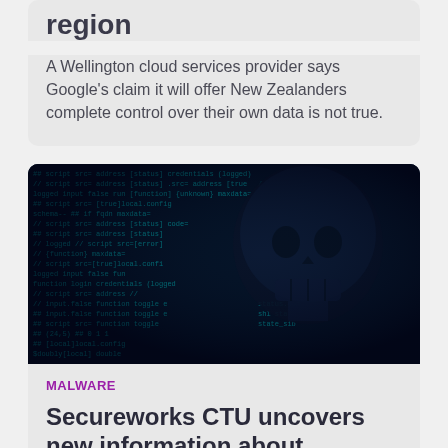region
A Wellington cloud services provider says Google's claim it will offer New Zealanders complete control over their own data is not true.
[Figure (photo): Dark hacker image showing a skull silhouette overlaid on blue glowing code/script text on a dark background]
MALWARE
Secureworks CTU uncovers new information about DarkTortilla malware